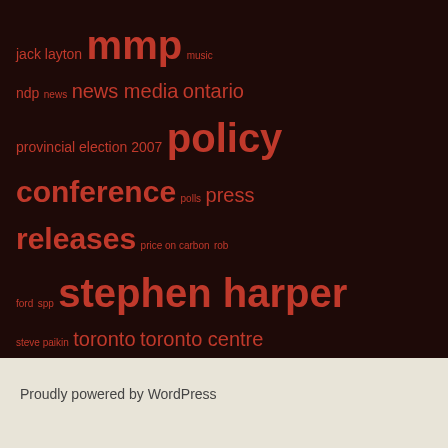jack layton mmp music ndp news news media ontario provincial election 2007 policy conference polls press releases price on carbon rob ford spp stephen harper steve paikin toronto toronto centre torontoist tvo video videos voting reform ward 27
Proudly powered by WordPress